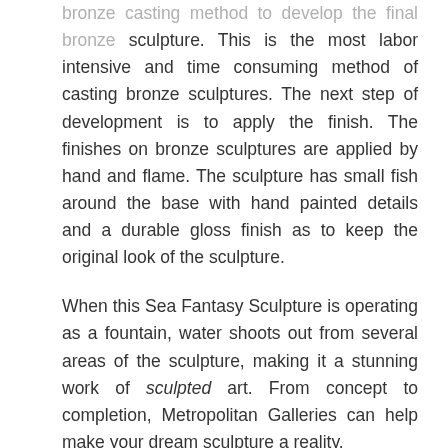bronze casting method to develop the final bronze sculpture. This is the most labor intensive and time consuming method of casting bronze sculptures. The next step of development is to apply the finish. The finishes on bronze sculptures are applied by hand and flame. The sculpture has small fish around the base with hand painted details and a durable gloss finish as to keep the original look of the sculpture.
When this Sea Fantasy Sculpture is operating as a fountain, water shoots out from several areas of the sculpture, making it a stunning work of sculpted art. From concept to completion, Metropolitan Galleries can help make your dream sculpture a reality.
Developing a Custom Bronze Sculpture
Our team of designer and sculptors can bring any idea or vision to life. Metropolitan Galleries holds over twenty